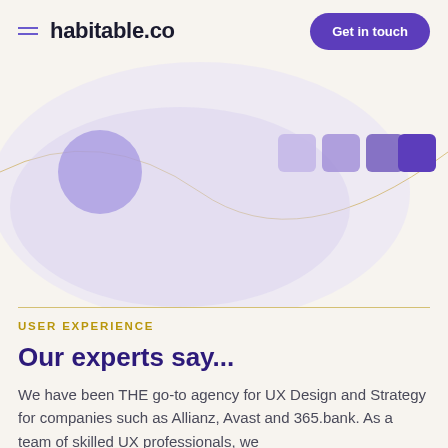habitable.co — Get in touch
[Figure (illustration): Decorative abstract hero graphic with purple/lavender rounded shapes, a circular element on the left, four color swatches on the right (light purple, medium purple, dark purple, vivid purple), and a thin curved gold/amber arc line.]
USER EXPERIENCE
Our experts say...
We have been THE go-to agency for UX Design and Strategy for companies such as Allianz, Avast and 365.bank. As a team of skilled UX professionals, we